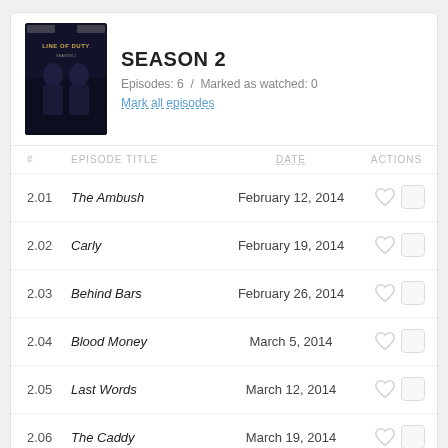SEASON 2
Episodes: 6  /  Marked as watched: 0
Mark all episodes
| # | EPISODE TITLE | DATE | ACTIONS |
| --- | --- | --- | --- |
| 2.01 | The Ambush | February 12, 2014 |  |
| 2.02 | Carly | February 19, 2014 |  |
| 2.03 | Behind Bars | February 26, 2014 |  |
| 2.04 | Blood Money | March 5, 2014 |  |
| 2.05 | Last Words | March 12, 2014 |  |
| 2.06 | The Caddy | March 19, 2014 |  |
SEASON 1